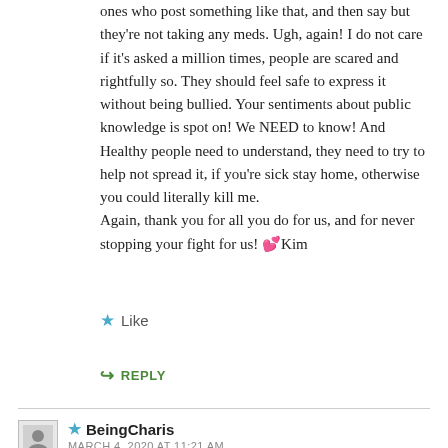ones who post something like that, and then say but they're not taking any meds. Ugh, again! I do not care if it's asked a million times, people are scared and rightfully so. They should feel safe to express it without being bullied. Your sentiments about public knowledge is spot on! We NEED to know! And Healthy people need to understand, they need to try to help not spread it, if you're sick stay home, otherwise you could literally kill me.
Again, thank you for all you do for us, and for never stopping your fight for us! 💕Kim
★ Like
↪ REPLY
★ BeingCharis
MARCH 4, 2020 AT 11:21 AM